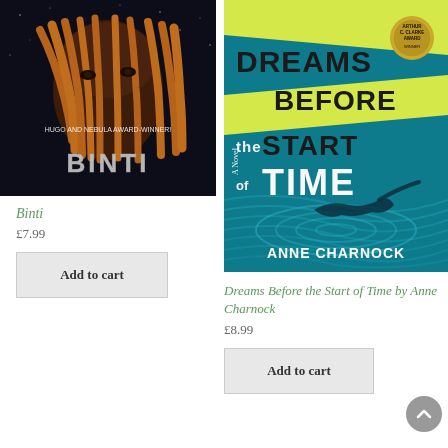[Figure (illustration): Book cover of 'Binti' — dark space background with a person's face partially obscured by orange tentacle-like hands, text reads 'HUGO AND NEBULA AWARD-WINNER!' and 'BINTI' in metallic letters]
Binti
£7.99
Add to cart
[Figure (illustration): Book cover of 'Dreams Before the Start of Time' by Anne Charnock — teal and yellow geometric design with large stylized text and a silhouette of a swimmer, Arthur C. Clarke Award medallion visible]
Dreams Before the Start of Time by Anne Charnock
£8.99
Add to cart